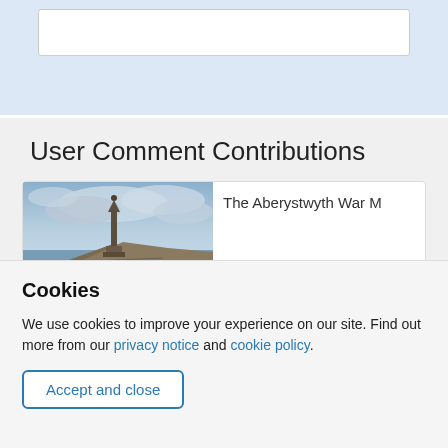[Figure (screenshot): Top input/form area with light blue background and a white input box]
User Comment Contributions
[Figure (photo): Photo of the Aberystwyth War Memorial, a tall column monument on a rocky headland with cloudy sky and sea in background]
The Aberystwyth War M
Cookies
We use cookies to improve your experience on our site. Find out more from our privacy notice and cookie policy.
Accept and close